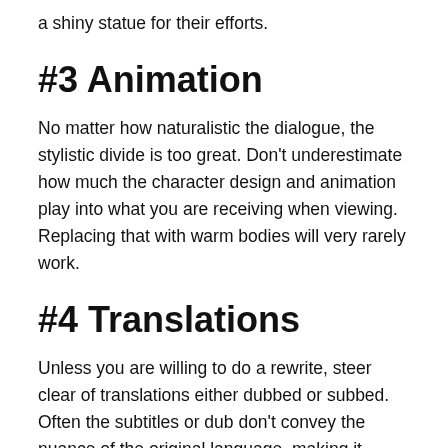a shiny statue for their efforts.
#3 Animation
No matter how naturalistic the dialogue, the stylistic divide is too great. Don't underestimate how much the character design and animation play into what you are receiving when viewing. Replacing that with warm bodies will very rarely work.
#4 Translations
Unless you are willing to do a rewrite, steer clear of translations either dubbed or subbed. Often the subtitles or dub don't convey the nuance of the original language, making it cumbersome or clunky. However, if you don't mind spending some time on it, using the skeleton structure and rewriting lines can make this option work